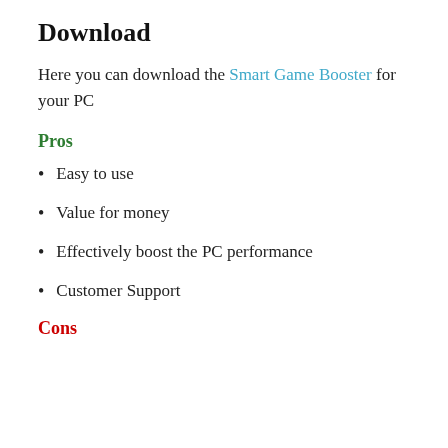Download
Here you can download the Smart Game Booster for your PC
Pros
Easy to use
Value for money
Effectively boost the PC performance
Customer Support
Cons